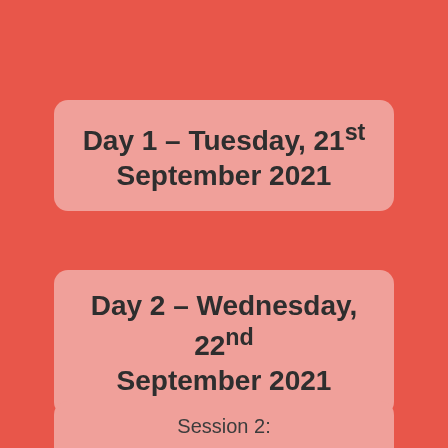Day 1 – Tuesday, 21st September 2021
Day 2 – Wednesday, 22nd September 2021
Session 2: